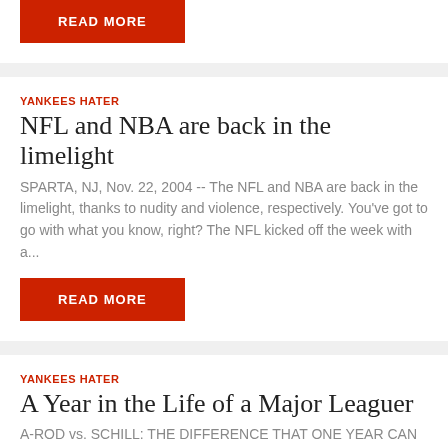READ MORE
YANKEES HATER
NFL and NBA are back in the limelight
SPARTA, NJ, Nov. 22, 2004 -- The NFL and NBA are back in the limelight, thanks to nudity and violence, respectively. You've got to go with what you know, right? The NFL kicked off the week with a...
READ MORE
YANKEES HATER
A Year in the Life of a Major Leaguer
A-ROD vs. SCHILL: THE DIFFERENCE THAT ONE YEAR CAN MAKE IN THE LIFE OF A MAJOR LEAGUER The Yankees' Alex Rodriguez made waves over the past few weeks, as he